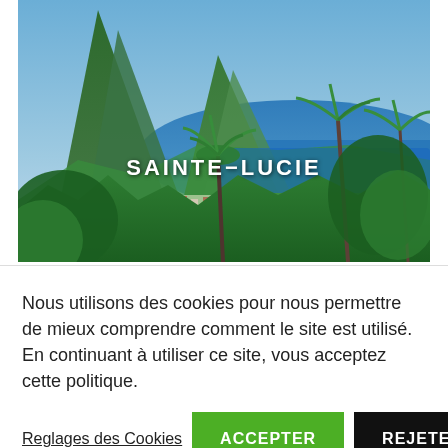[Figure (photo): Aerial tropical landscape photo of Sainte-Lucie (Saint Lucia) showing lush green mountains (Pitons), palm trees, a coastal town, and blue sea in the background. White text 'SAINTE-LUCIE' overlaid in the center.]
Nous utilisons des cookies pour nous permettre de mieux comprendre comment le site est utilisé. En continuant à utiliser ce site, vous acceptez cette politique.
Reglages des Cookies   ACCEPTER   REJETER